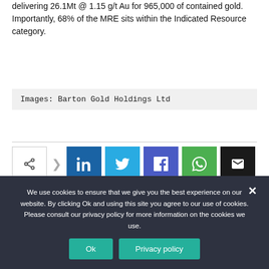delivering 26.1Mt @ 1.15 g/t Au for 965,000 of contained gold. Importantly, 68% of the MRE sits within the Indicated Resource category.
Images: Barton Gold Holdings Ltd
[Figure (infographic): Social share bar with share toggle button and social media icons: LinkedIn, Twitter, Facebook, WhatsApp, Email]
We use cookies to ensure that we give you the best experience on our website. By clicking Ok and using this site you agree to our use of cookies. Please consult our privacy policy for more information on the cookies we use.